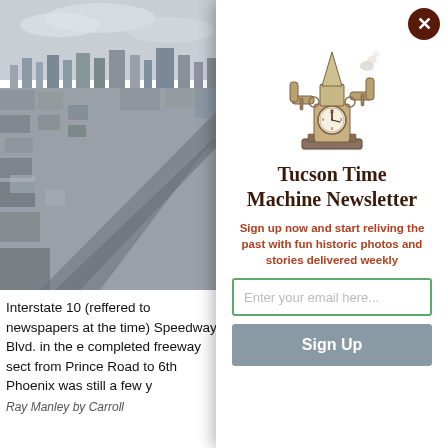[Figure (photo): Black and white aerial photograph of Tucson showing Interstate 10 and surrounding neighborhoods]
Interstate 10 (reffered to newspapers at the time) Speedway Blvd. in the e completed freeway sect from Prince Road to 6th Phoenix was still a few y
Ray Manley by Carroll
[Figure (illustration): Steampunk mechanical cactus/clock tower illustration - logo for Tucson Time Machine Newsletter]
Tucson Time Machine Newsletter
Sign up now and start reliving the past with fun historic photos and stories delivered weekly
Enter your email here...
Sign Up